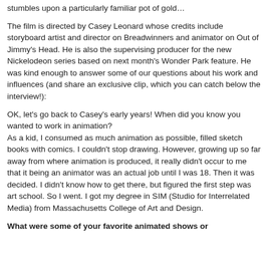stumbles upon a particularly familiar pot of gold…
The film is directed by Casey Leonard whose credits include storyboard artist and director on Breadwinners and animator on Out of Jimmy's Head. He is also the supervising producer for the new Nickelodeon series based on next month's Wonder Park feature. He was kind enough to answer some of our questions about his work and influences (and share an exclusive clip, which you can catch below the interview!):
OK, let's go back to Casey's early years! When did you know you wanted to work in animation?
As a kid, I consumed as much animation as possible, filled sketch books with comics. I couldn't stop drawing. However, growing up so far away from where animation is produced, it really didn't occur to me that it being an animator was an actual job until I was 18. Then it was decided. I didn't know how to get there, but figured the first step was art school. So I went. I got my degree in SIM (Studio for Interrelated Media) from Massachusetts College of Art and Design.
What were some of your favorite animated shows or